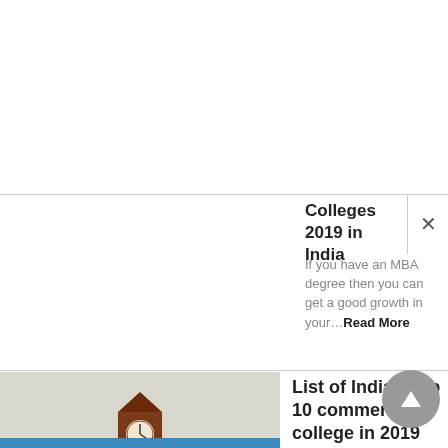Colleges 2019 in India
If you have an MBA degree then you can get a good growth in your…Read More
[Figure (photo): Photo of a red-brick university building with a clock tower, surrounded by trees]
List of India's top 10 commerce college in 2019
Those who think that there is no possibility of a career in subjects like commerce,…Read More
[Figure (illustration): Illustration showing CV/resume documents with text 'How to Write Resume']
How to Write Resume
How to write Resume Format your resume. How to Write a Chronological Resume. Draw FUN…Read More